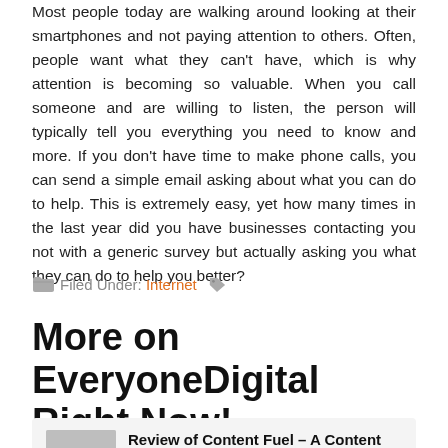Most people today are walking around looking at their smartphones and not paying attention to others. Often, people want what they can't have, which is why attention is becoming so valuable. When you call someone and are willing to listen, the person will typically tell you everything you need to know and more. If you don't have time to make phone calls, you can send a simple email asking about what you can do to help. This is extremely easy, yet how many times in the last year did you have businesses contacting you not with a generic survey but actually asking you what they can do to help you better?
Filed Under: Internet
More on EveryoneDigital Right Now!
Review of Content Fuel – A Content Writing Service